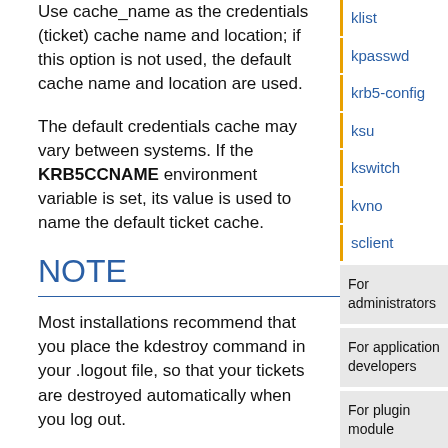Use cache_name as the credentials (ticket) cache name and location; if this option is not used, the default cache name and location are used.
The default credentials cache may vary between systems. If the KRB5CCNAME environment variable is set, its value is used to name the default ticket cache.
NOTE
Most installations recommend that you place the kdestroy command in your .logout file, so that your tickets are destroyed automatically when you log out.
ENVIRONMENT
klist
kpasswd
krb5-config
ksu
kswitch
kvno
sclient
For administrators
For application developers
For plugin module